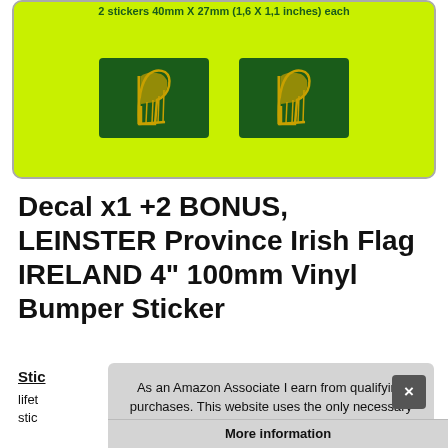[Figure (photo): Product image showing two green Leinster Province Irish Flag stickers with gold harps on a yellow-green background, labeled '2 stickers 40mm X 27mm (1,6 X 1,1 inches) each']
Decal x1 +2 BONUS, LEINSTER Province Irish Flag IRELAND 4" 100mm Vinyl Bumper Sticker
Stic
lifet
stic
As an Amazon Associate I earn from qualifying purchases. This website uses the only necessary cookies to ensure you get the best experience on our website. More information
More information